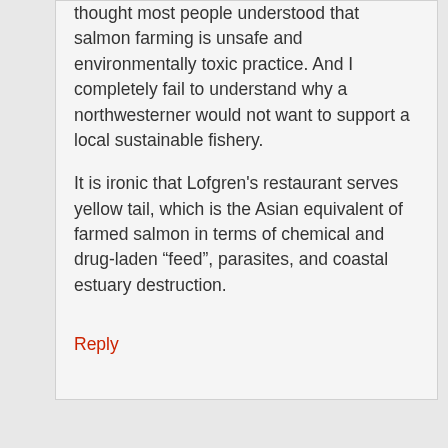thought most people understood that salmon farming is unsafe and environmentally toxic practice. And I completely fail to understand why a northwesterner would not want to support a local sustainable fishery.
It is ironic that Lofgren's restaurant serves yellow tail, which is the Asian equivalent of farmed salmon in terms of chemical and drug-laden “feed”, parasites, and coastal estuary destruction.
Reply